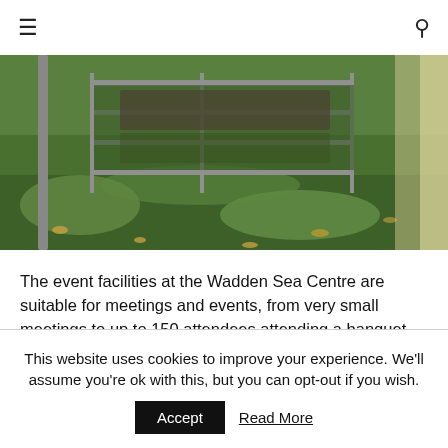☰  🔍
[Figure (photo): Outdoor photo showing green grass, fallen leaves, a metal fence structure, and tree trunks at the Wadden Sea Centre]
The event facilities at the Wadden Sea Centre are suitable for meetings and events, from very small meetings to up to 150 attendees attending a banquet.
This website uses cookies to improve your experience. We'll assume you're ok with this, but you can opt-out if you wish. Accept | Read More